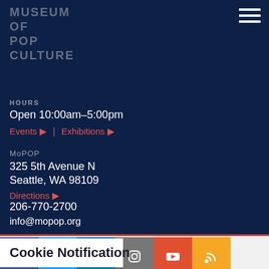MUSEUM OF POP CULTURE
HOURS
Open 10:00am–5:00pm
Events ▶   |   Exhibitions ▶
MoPOP
325 5th Avenue N
Seattle, WA 98109
Directions ▶
206-770-2700
info@mopop.org
[Figure (other): Social media icons row: Facebook, Twitter, LinkedIn, Instagram, YouTube, RSS]
Cookie Notification